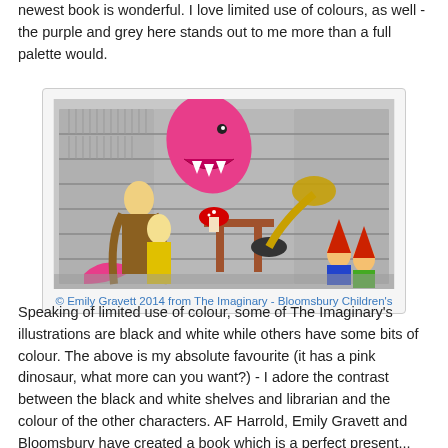newest book is wonderful. I love limited use of colours, as well - the purple and grey here stands out to me more than a full palette would.
[Figure (illustration): Illustration from The Imaginary by AF Harrold and Emily Gravett showing a library scene with grey pencil-drawn bookshelves, a pink dinosaur, a blonde woman in a brown dress hugging a child in a yellow shirt, a gnome playing a gramophone-like instrument, and garden gnomes, with colourful characters contrasting against black and white shelves.]
© Emily Gravett 2014 from The Imaginary - Bloomsbury Children's
Speaking of limited use of colour, some of The Imaginary's illustrations are black and white while others have some bits of colour. The above is my absolute favourite (it has a pink dinosaur, what more can you want?) - I adore the contrast between the black and white shelves and librarian and the colour of the other characters. AF Harrold, Emily Gravett and Bloomsbury have created a book which is a perfect present...